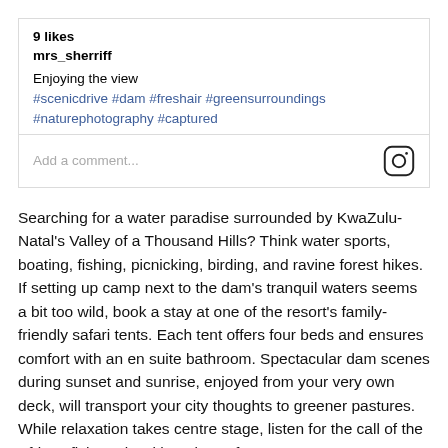9 likes
mrs_sherriff
Enjoying the view
#scenicdrive #dam #freshair #greensurroundings #naturephotography #captured
Add a comment...
Searching for a water paradise surrounded by KwaZulu- Natal's Valley of a Thousand Hills? Think water sports, boating, fishing, picnicking, birding, and ravine forest hikes. If setting up camp next to the dam's tranquil waters seems a bit too wild, book a stay at one of the resort's family-friendly safari tents. Each tent offers four beds and ensures comfort with an en suite bathroom. Spectacular dam scenes during sunset and sunrise, enjoyed from your very own deck, will transport your city thoughts to greener pastures. While relaxation takes centre stage, listen for the call of the African fish eagle with a glass of your